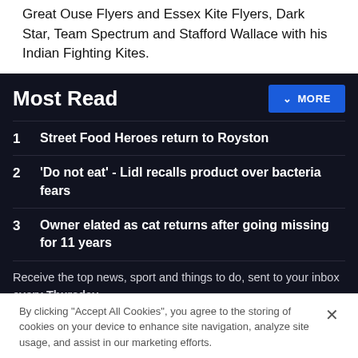Great Ouse Flyers and Essex Kite Flyers, Dark Star, Team Spectrum and Stafford Wallace with his Indian Fighting Kites.
Most Read
1  Street Food Heroes return to Royston
2  'Do not eat' - Lidl recalls product over bacteria fears
3  Owner elated as cat returns after going missing for 11 years
Receive the top news, sport and things to do, sent to your inbox every Thursday.
By clicking "Accept All Cookies", you agree to the storing of cookies on your device to enhance site navigation, analyze site usage, and assist in our marketing efforts.